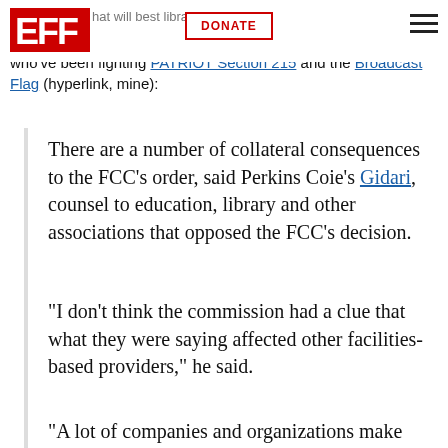EFF
that will be ...est librarians who've been fighting PATRIOT Section 215 and the Broadcast Flag (hyperlink, mine):
There are a number of collateral consequences to the FCC's order, said Perkins Coie's Gidari, counsel to education, library and other associations that opposed the FCC's decision.
"I don't think the commission had a clue that what they were saying affected other facilities-based providers," he said.
"A lot of companies and organizations make broadband available to their work...